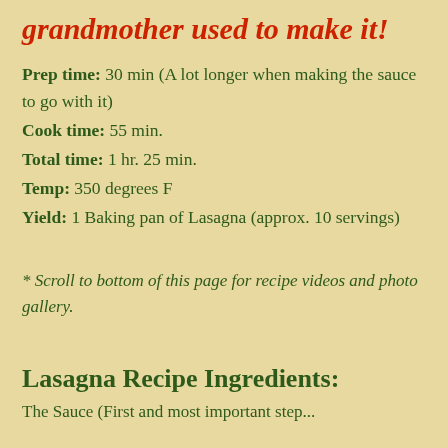grandmother used to make it!
Prep time: 30 min (A lot longer when making the sauce to go with it)
Cook time: 55 min.
Total time: 1 hr. 25 min.
Temp: 350 degrees F
Yield: 1 Baking pan of Lasagna (approx. 10 servings)
* Scroll to bottom of this page for recipe videos and photo gallery.
Lasagna Recipe Ingredients:
The Sauce (First and most important step...